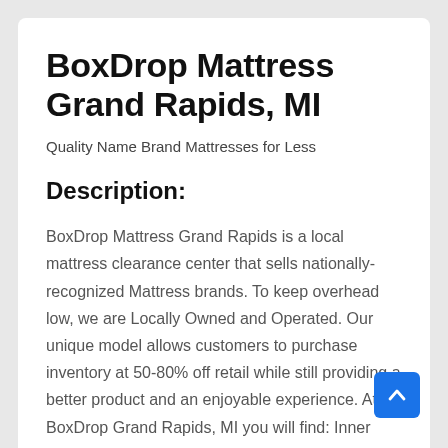BoxDrop Mattress Grand Rapids, MI
Quality Name Brand Mattresses for Less
Description:
BoxDrop Mattress Grand Rapids is a local mattress clearance center that sells nationally-recognized Mattress brands. To keep overhead low, we are Locally Owned and Operated. Our unique model allows customers to purchase inventory at 50-80% off retail while still providing a better product and an enjoyable experience. At BoxDrop Grand Rapids, MI you will find: Inner Spring Mattresses, Memory Foam Mattresses, Hybride and more! We stock name brands and all